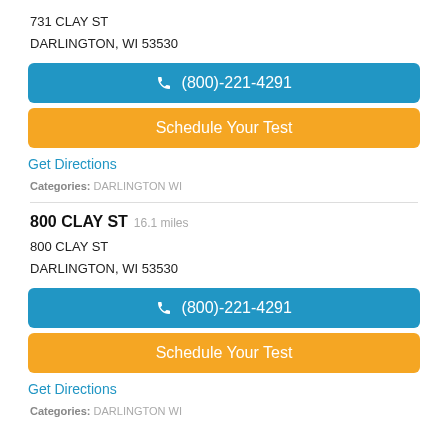731 CLAY ST
DARLINGTON, WI 53530
(800)-221-4291
Schedule Your Test
Get Directions
Categories: DARLINGTON WI
800 CLAY ST  16.1 miles
800 CLAY ST
DARLINGTON, WI 53530
(800)-221-4291
Schedule Your Test
Get Directions
Categories: DARLINGTON WI